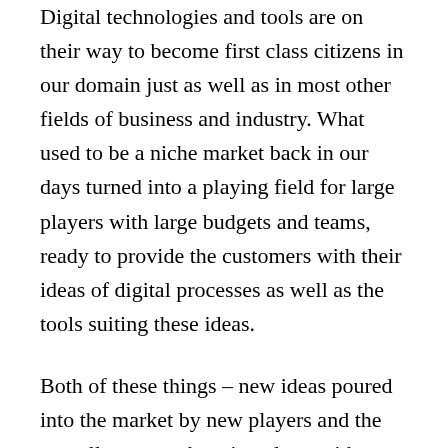Digital technologies and tools are on their way to become first class citizens in our domain just as well as in most other fields of business and industry. What used to be a niche market back in our days turned into a playing field for large players with large budgets and teams, ready to provide the customers with their ideas of digital processes as well as the tools suiting these ideas.
Both of these things – new ideas poured into the market by new players and the overall process changing along with new tools – might make some of our current services and solutions completely pointless in near future while at the same time customers will start voicing all new requirements and wishes we so far don't even